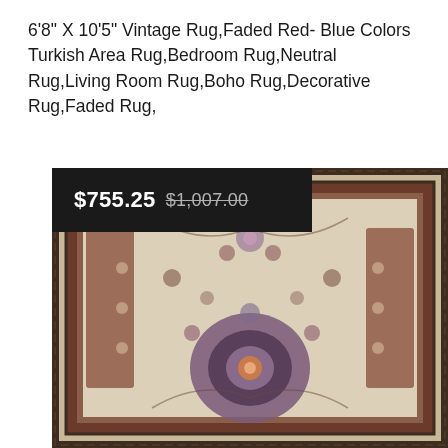6'8" X 10'5" Vintage Rug,Faded Red- Blue Colors Turkish Area Rug,Bedroom Rug,Neutral Rug,Living Room Rug,Boho Rug,Decorative Rug,Faded Rug,
[Figure (photo): Vintage Turkish area rug with faded red and blue colors, featuring intricate floral and medallion patterns on a cream/beige background with dark border. Overlaid with a dark price badge showing $755.25 discounted from $1,007.00.]